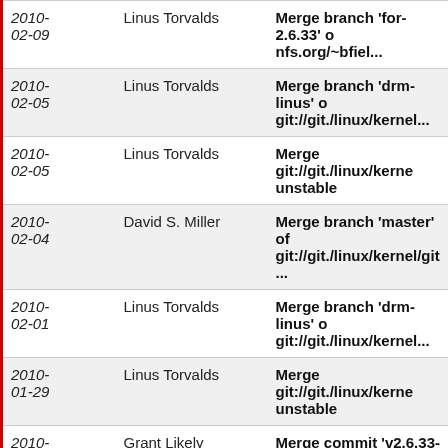| Date | Author | Commit Message |
| --- | --- | --- |
| 2010-02-09 | Linus Torvalds | Merge branch 'for-2.6.33' o nfs.org/~bfiel... |
| 2010-02-05 | Linus Torvalds | Merge branch 'drm-linus' o git://git./linux/kernel... |
| 2010-02-05 | Linus Torvalds | Merge git://git./linux/kerne unstable |
| 2010-02-04 | David S. Miller | Merge branch 'master' of git://git./linux/kernel/git... |
| 2010-02-01 | Linus Torvalds | Merge branch 'drm-linus' o git://git./linux/kernel... |
| 2010-01-29 | Linus Torvalds | Merge git://git./linux/kerne unstable |
| 2010-01-28 | Grant Likely | Merge commit 'v2.6.33-rc5 devicetree |
| 2010-01-28 | David S. Miller | Merge branch 'master' of git://git./linux/kernel/git... |
| 2010-01-26 | Linus Torvalds | Merge branch 'drm-linus' o git://git./linux/kernel... |
| 2010-01-21 | Linus Torvalds | Merge git://git./linux/kerne unstable |
| 2010-01-20 | Len Brown | Merge branch 'bugzilla-14... |